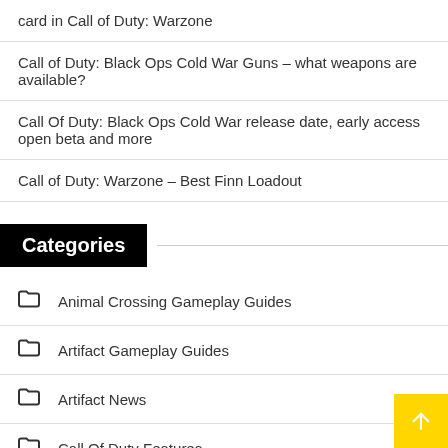card in Call of Duty: Warzone
Call of Duty: Black Ops Cold War Guns – what weapons are available?
Call Of Duty: Black Ops Cold War release date, early access open beta and more
Call of Duty: Warzone – Best Finn Loadout
Categories
Animal Crossing Gameplay Guides
Artifact Gameplay Guides
Artifact News
Call Of Duty Features
Call Of Duty Gameplay Guides